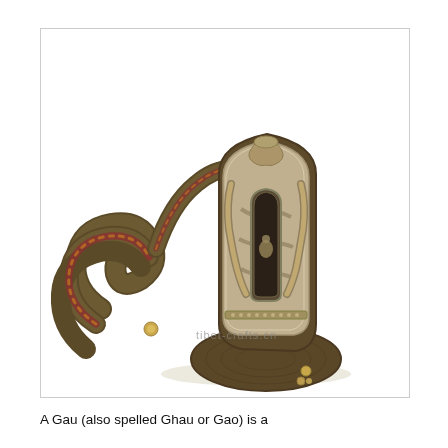[Figure (photo): A Tibetan Gau (also spelled Ghau or Gao) amulet box. The item features a dark olive-brown fabric/velvet body with an ornate silver metal front panel decorated with intricate repousse work showing dragons, mythical creatures, and a small shrine arch window in the center. A decorative strap with red and gold embroidered trim is coiled to the left. The bottom portion shows a quilted oval base. A watermark reads 'tibet-crafts.cn'. Background is white.]
A Gau (also spelled Ghau or Gao) is a